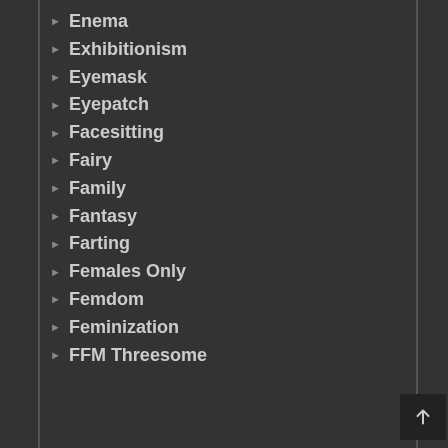Enema
Exhibitionism
Eyemask
Eyepatch
Facesitting
Fairy
Family
Fantasy
Farting
Females Only
Femdom
Feminization
FFM Threesome